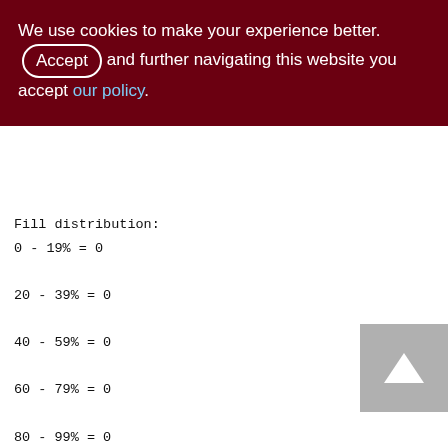We use cookies to make your experience better. By accepting and further navigating this website you accept our policy.
Fill distribution:
0 - 19% = 0
20 - 39% = 0
40 - 59% = 0
60 - 79% = 0
80 - 99% = 0

ZINVNT_TURNOVER_LOG (229)
Primary pointer page: 567, Index root page: 568
Average record length: 0.00, total records: 0
Average version length: 0.00, total